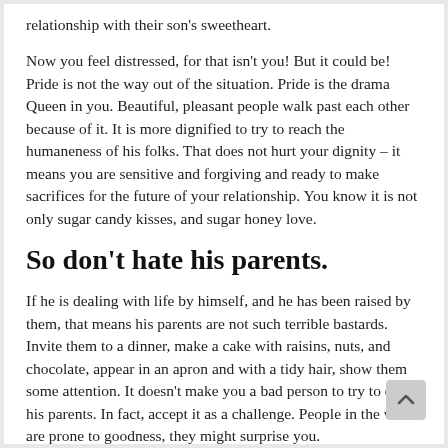relationship with their son's sweetheart.
Now you feel distressed, for that isn't you! But it could be! Pride is not the way out of the situation. Pride is the drama Queen in you. Beautiful, pleasant people walk past each other because of it. It is more dignified to try to reach the humaneness of his folks. That does not hurt your dignity – it means you are sensitive and forgiving and ready to make sacrifices for the future of your relationship. You know it is not only sugar candy kisses, and sugar honey love.
So don't hate his parents.
If he is dealing with life by himself, and he has been raised by them, that means his parents are not such terrible bastards. Invite them to a dinner, make a cake with raisins, nuts, and chocolate, appear in an apron and with a tidy hair, show them some attention. It doesn't make you a bad person to try to entice his parents. In fact, accept it as a challenge. People in the world are prone to goodness, they might surprise you.